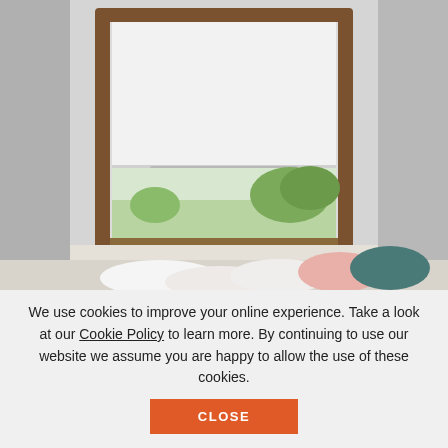[Figure (photo): Photograph of a skylight or roof window with a wooden frame and a white roller blind partially lowered. Through the lower portion of the window, a green outdoor landscape with trees is visible. Below the window sill are white and colorful cushions (pink, teal) suggesting a window seat.]
We use cookies to improve your online experience. Take a look at our Cookie Policy to learn more. By continuing to use our website we assume you are happy to allow the use of these cookies.
CLOSE